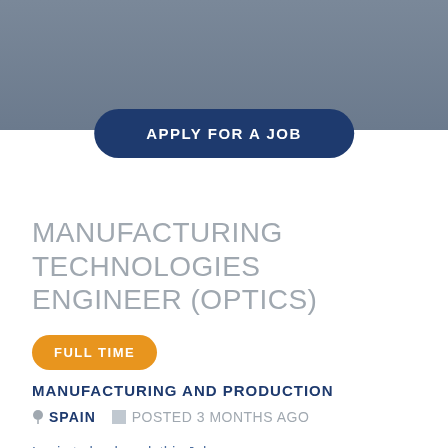[Figure (photo): Blurred gray background photo behind the header area]
APPLY FOR A JOB
MANUFACTURING TECHNOLOGIES ENGINEER (OPTICS)
FULL TIME
MANUFACTURING AND PRODUCTION
SPAIN   POSTED 3 MONTHS AGO
Login to bookmark this Job
COMPANY DETAILS
ATG Europe